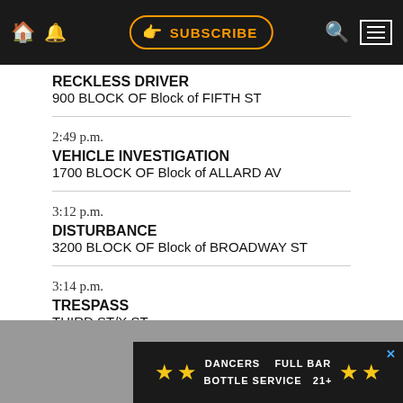SUBSCRIBE [navigation bar]
RECKLESS DRIVER
900 BLOCK OF Block of FIFTH ST
2:49 p.m.
VEHICLE INVESTIGATION
1700 BLOCK OF Block of ALLARD AV
3:12 p.m.
DISTURBANCE
3200 BLOCK OF Block of BROADWAY ST
3:14 p.m.
TRESPASS
THIRD ST/X ST
7:1...
[Figure (screenshot): Advertisement banner: DANCERS FULL BAR BOTTLE SERVICE 21+ with yellow stars on dark background]